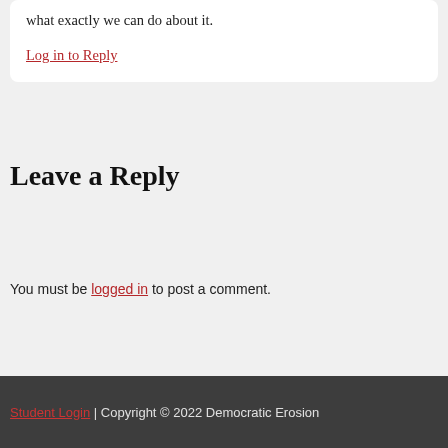what exactly we can do about it.
Log in to Reply
Leave a Reply
You must be logged in to post a comment.
Student Login | Copyright © 2022 Democratic Erosion